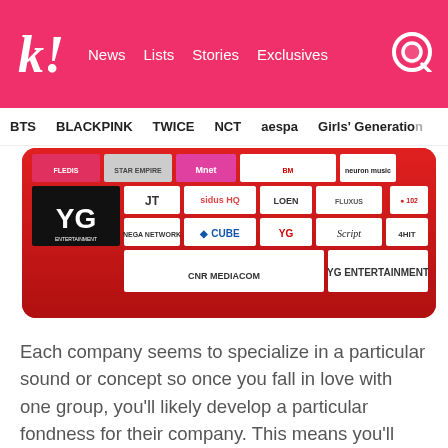k! News Lists Stories Exclusives
BTS  BLACKPINK  TWICE  NCT  aespa  Girls' Generation
[Figure (other): A collage banner of K-pop music company logos including YG Entertainment, Sidus HQ, Cube, LOEN, Mnet, BM, CNR Media, Brandnew Music, 102, IHQ, and many others on a red/white background.]
Each company seems to specialize in a particular sound or concept so once you fall in love with one group, you’ll likely develop a particular fondness for their company. This means you’ll start to cheer on other groups from this company and you may even find yourself declaring your love for the company itself!